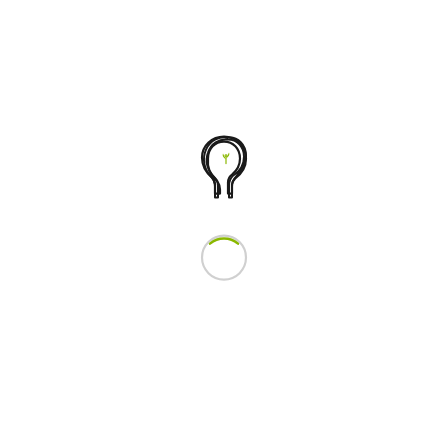[Figure (logo): A logo consisting of two parts: (1) a black silhouette of a human head in profile facing right, with a small green plant/sprout icon inside the head area, and (2) below it, a circle outline with a green arc on top (like a loading spinner or circular icon), with a light gray/white body.]